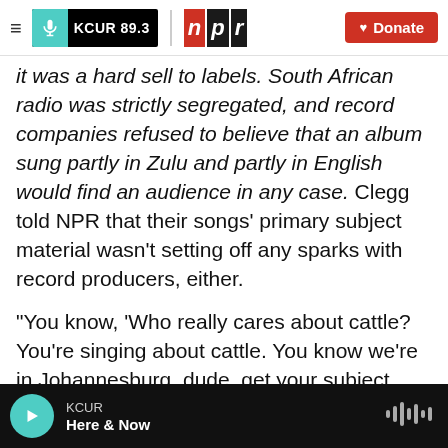KCUR 89.3 | npr | Donate
it was a hard sell to labels. South African radio was strictly segregated, and record companies refused to believe that an album sung partly in Zulu and partly in English would find an audience in any case. Clegg told NPR that their songs' primary subject material wasn't setting off any sparks with record producers, either.
"You know, 'Who really cares about cattle? You're singing about cattle. You know we're in Johannesburg, dude, get your subject matter right!' Clegg recalled. "But I was shaped by cattle culture, because all the songs I learned were about cattle,
KCUR | Here & Now